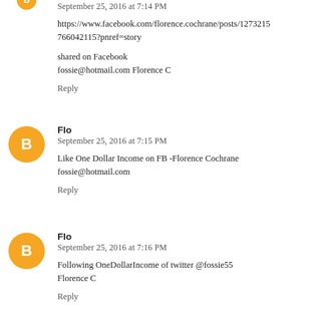September 25, 2016 at 7:14 PM
https://www.facebook.com/florence.cochrane/posts/1273215766042115?pnref=story
shared on Facebook
fossie@hotmail.com Florence C
Reply
Flo
September 25, 2016 at 7:15 PM
Like One Dollar Income on FB -Florence Cochrane fossie@hotmail.com
Reply
Flo
September 25, 2016 at 7:16 PM
Following OneDollarIncome of twitter @fossie55 Florence C
Reply